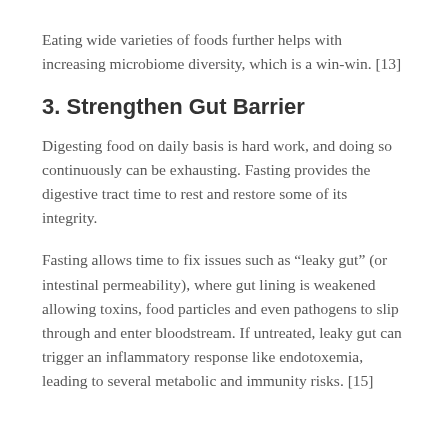Eating wide varieties of foods further helps with increasing microbiome diversity, which is a win-win. [13]
3. Strengthen Gut Barrier
Digesting food on daily basis is hard work, and doing so continuously can be exhausting. Fasting provides the digestive tract time to rest and restore some of its integrity.
Fasting allows time to fix issues such as “leaky gut” (or intestinal permeability), where gut lining is weakened allowing toxins, food particles and even pathogens to slip through and enter bloodstream. If untreated, leaky gut can trigger an inflammatory response like endotoxemia, leading to several metabolic and immunity risks. [15]